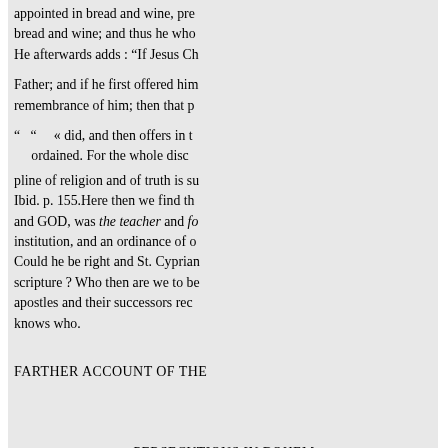appointed in bread and wine, pre bread and wine; and thus he who He afterwards adds : “If Jesus Ch
Father; and if he first offered him remembrance of him; then that p
“ “ « did, and then offers in t ordained. For the whole disc
pline of religion and of truth is su Ibid. p. 155.Here then we find th and GOD, was the teacher and fo institution, and an ordinance of o Could he be right and St. Cyprian scripture ? Who then are we to be apostles and their successors rec knows who.
FARTHER ACCOUNT OF THE
PERSECUTIONS IN BOHEM